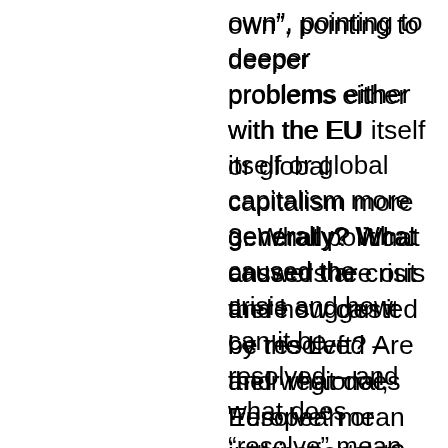own”, pointing to deeper problems either with the EU itself or global capitalism more generally? What caused the crisis and how can it be resolved – and what does “resolve” mean in this context?
3. What political answers are out there suggested by the Left? Are their regional, European or international in nature? Are they equipped to tackle the problems analyzed above? Is the Left equipped to politically answer or even understand the current crisis? Can you suggest any answers and a path to achieve it? What